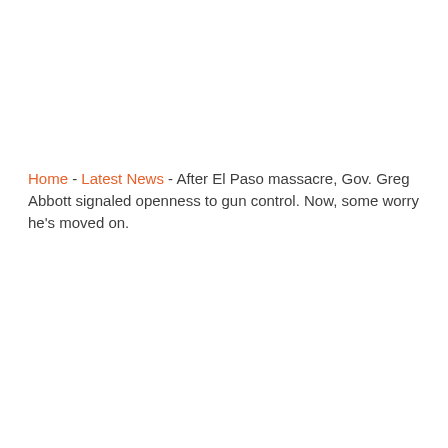Home - Latest News - After El Paso massacre, Gov. Greg Abbott signaled openness to gun control. Now, some worry he's moved on.